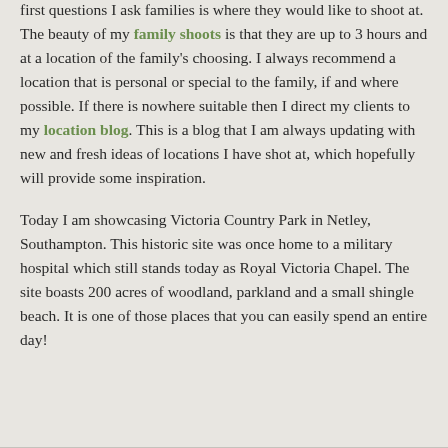first questions I ask families is where they would like to shoot at. The beauty of my family shoots is that they are up to 3 hours and at a location of the family's choosing. I always recommend a location that is personal or special to the family, if and where possible. If there is nowhere suitable then I direct my clients to my location blog. This is a blog that I am always updating with new and fresh ideas of locations I have shot at, which hopefully will provide some inspiration.
Today I am showcasing Victoria Country Park in Netley, Southampton. This historic site was once home to a military hospital which still stands today as Royal Victoria Chapel. The site boasts 200 acres of woodland, parkland and a small shingle beach. It is one of those places that you can easily spend an entire day!